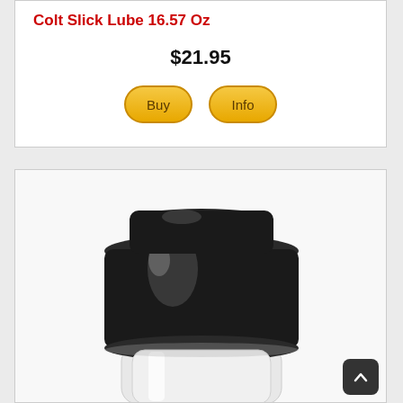Colt Slick Lube 16.57 Oz
$21.95
[Figure (screenshot): Two golden oval buttons labeled 'Buy' and 'Info']
[Figure (photo): Close-up photo of a clear bottle with a large black cap, product is Colt Slick Lube]